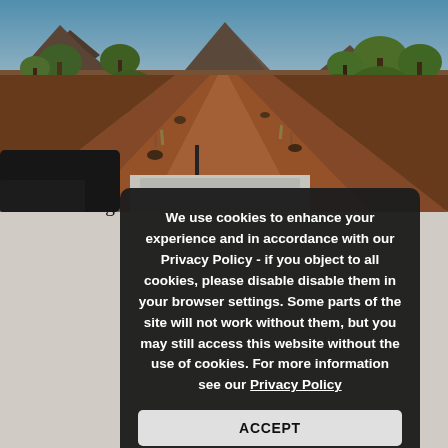[Figure (photo): View from a vehicle on a red dirt road through African savanna with sparse trees and rocky hills/mountains in the background under a blue sky.]
A more open section allowe...
Sections of what was on... washed out by successive rainy seasons, and the like have not seen fit to make the random det... car. Some places are just rock steps and e... goods and passengers to climb or ... way before I was thinking that I'd had quite enough of this sort of fun, and just wanted to jump in the pro... water of the Bafing River.
We use cookies to enhance your experience and in accordance with our Privacy Policy - if you object to all cookies, please disable disable them in your browser settings. Some parts of the site will not work without them, but you may still access this website without the use of cookies. For more information see our Privacy Policy
ACCEPT